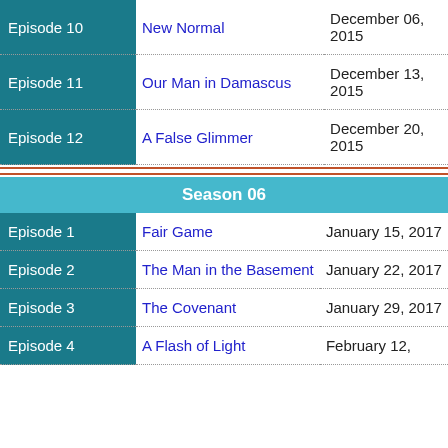| Episode | Title | Date |
| --- | --- | --- |
| Episode 10 | New Normal | December 06, 2015 |
| Episode 11 | Our Man in Damascus | December 13, 2015 |
| Episode 12 | A False Glimmer | December 20, 2015 |
Season 06
| Episode | Title | Date |
| --- | --- | --- |
| Episode 1 | Fair Game | January 15, 2017 |
| Episode 2 | The Man in the Basement | January 22, 2017 |
| Episode 3 | The Covenant | January 29, 2017 |
| Episode 4 | A Flash of Light | February 12, ... |